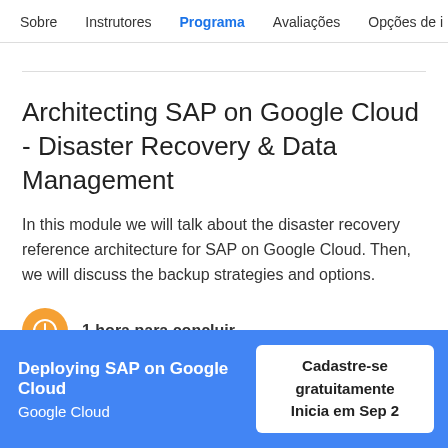Sobre   Instrutores   Programa   Avaliações   Opções de i
Architecting SAP on Google Cloud - Disaster Recovery & Data Management
In this module we will talk about the disaster recovery reference architecture for SAP on Google Cloud. Then, we will discuss the backup strategies and options.
1 hora para concluir
Deploying SAP on Google Cloud
Google Cloud
Cadastre-se gratuitamente
Inicia em Sep 2